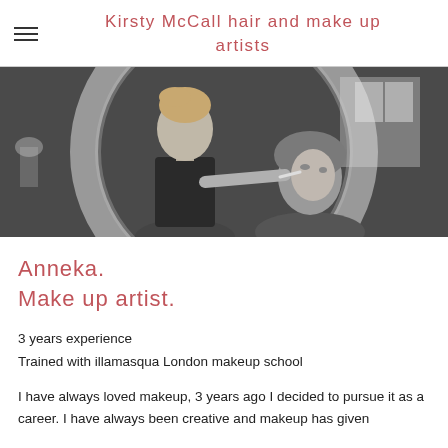Kirsty McCall hair and make up artists
[Figure (photo): Black and white photograph of a makeup artist applying makeup to a seated woman, reflected in a circular ring-lit mirror in a room setting.]
Anneka.
Make up artist.
3 years experience
Trained with illamasqua London makeup school
I have always loved makeup, 3 years ago I decided to pursue it as a career. I have always been creative and makeup has given